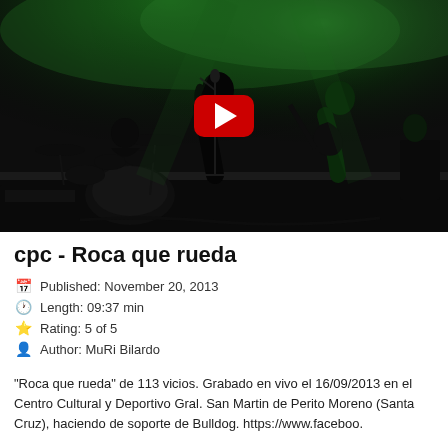[Figure (photo): Video thumbnail showing a band performing on stage with green stage lighting and a red YouTube play button overlay in the center. Musicians are visible as silhouettes against the green-lit background with drums, guitars, and a microphone stand.]
cpc - Roca que rueda
Published: November 20, 2013
Length: 09:37 min
Rating: 5 of 5
Author: MuRi Bilardo
"Roca que rueda" de 113 vicios. Grabado en vivo el 16/09/2013 en el Centro Cultural y Deportivo Gral. San Martin de Perito Moreno (Santa Cruz), haciendo de soporte de Bulldog. https://www.faceboo.